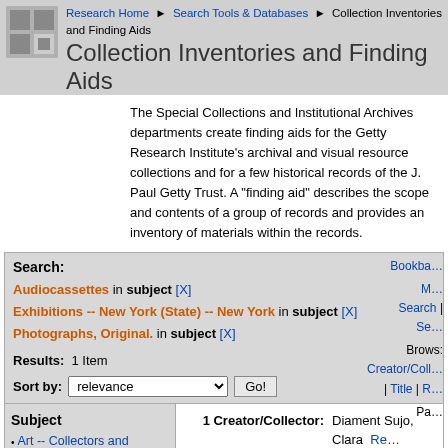Research Home > Search Tools & Databases > Collection Inventories and Finding Aids
Collection Inventories and Finding Aids
The Special Collections and Institutional Archives departments create finding aids for the Getty Research Institute's archival and visual resource collections and for a few historical records of the J. Paul Getty Trust. A "finding aid" describes the scope and contents of a group of records and provides an inventory of materials within the records.
Search:
Audiocassettes in subject [X]
Exhibitions -- New York (State) -- New York in subject [X]
Photographs, Original. in subject [X]
Results: 1 Item
Sort by: relevance  Go!
Subject
Art -- Collectors and collecting (1)
Art dealers (1)
Art dealers -- Archives (1)
1 Creator/Collector: Diament Sujo, Clara
Title: Clara Diament Sujo papers
Dates: 1944-2014 (bulk